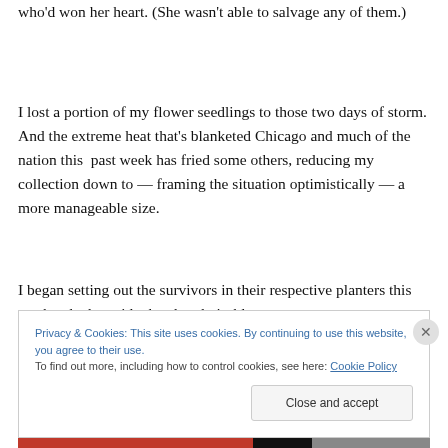who'd won her heart. (She wasn't able to salvage any of them.)
I lost a portion of my flower seedlings to those two days of storm. And the extreme heat that's blanketed Chicago and much of the nation this past week has fried some others, reducing my collection down to — framing the situation optimistically — a more manageable size.
I began setting out the survivors in their respective planters this weekend, alongside the already in-bloom
Privacy & Cookies: This site uses cookies. By continuing to use this website, you agree to their use.
To find out more, including how to control cookies, see here: Cookie Policy
Close and accept